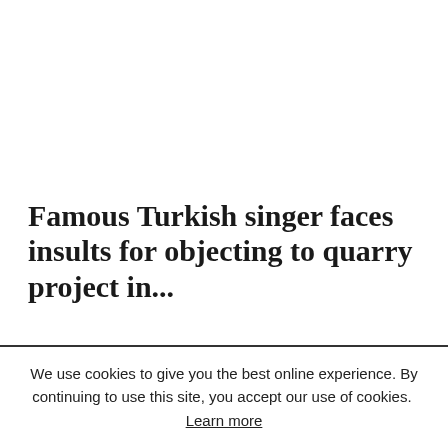Famous Turkish singer faces insults for objecting to quarry project in...
We use cookies to give you the best online experience. By continuing to use this site, you accept our use of cookies. Learn more
Accept